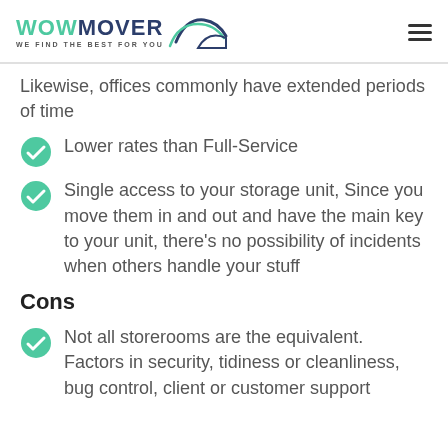WOWMOVER WE FIND THE BEST FOR YOU
Likewise, offices commonly have extended periods of time
Lower rates than Full-Service
Single access to your storage unit, Since you move them in and out and have the main key to your unit, there’s no possibility of incidents when others handle your stuff
Cons
Not all storerooms are the equivalent. Factors in security, tidiness or cleanliness, bug control, client or customer support